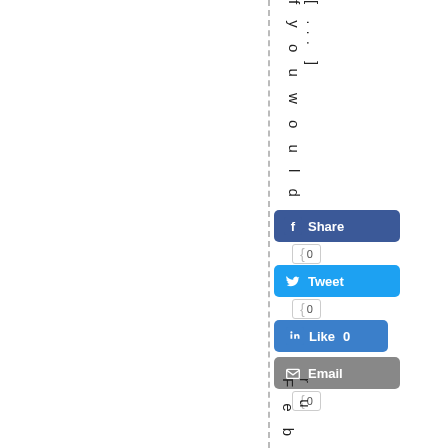f y o u w o u l d [...] ]
[Figure (screenshot): Social sharing buttons: Facebook Share, Twitter Tweet, LinkedIn Like 0, Email, each with count indicators showing 0]
F e b r u